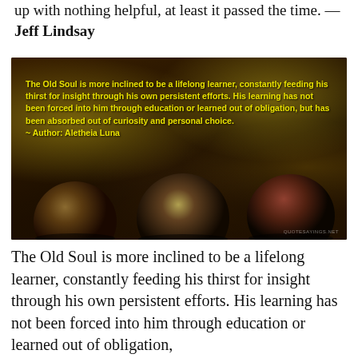up with nothing helpful, at least it passed the time. — Jeff Lindsay
[Figure (illustration): Dark atmospheric quote image with bokeh yellow lights and glass marbles in foreground. Yellow bold text overlay reads: 'The Old Soul is more inclined to be a lifelong learner, constantly feeding his thirst for insight through his own persistent efforts. His learning has not been forced into him through education or learned out of obligation, but has been absorbed out of curiosity and personal choice. ~ Author: Aletheia Luna']
The Old Soul is more inclined to be a lifelong learner, constantly feeding his thirst for insight through his own persistent efforts. His learning has not been forced into him through education or learned out of obligation,